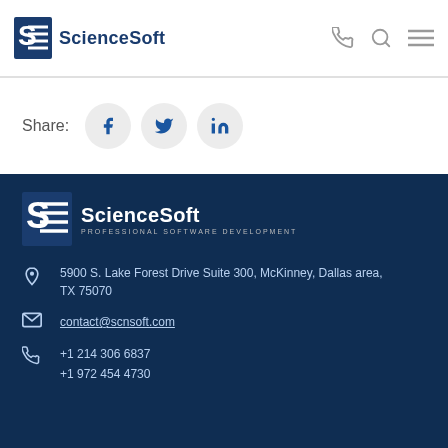ScienceSoft
Share:
ScienceSoft Professional Software Development
5900 S. Lake Forest Drive Suite 300, McKinney, Dallas area, TX 75070
contact@scnsoft.com
+1 214 306 6837
+1 972 454 4730